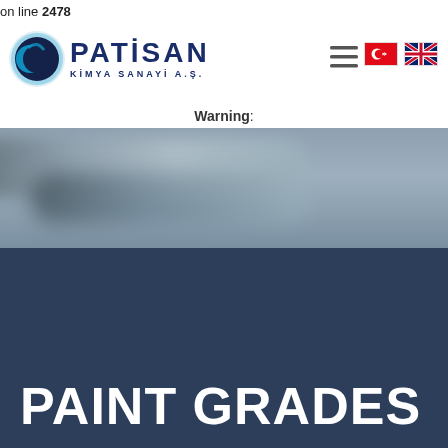on line 2478
[Figure (logo): Patisan Kimya Sanayi A.Ş. logo with circular blue icon and company name]
Warning:
[Figure (photo): Blurred close-up photo of a paint brush or applicator tool against a grey-blue background]
PAINT GRADES